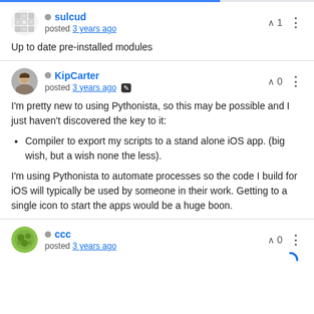sulcud
posted 3 years ago
Up to date pre-installed modules
KipCarter
posted 3 years ago
I'm pretty new to using Pythonista, so this may be possible and I just haven't discovered the key to it:
Compiler to export my scripts to a stand alone iOS app. (big wish, but a wish none the less).
I'm using Pythonista to automate processes so the code I build for iOS will typically be used by someone in their work. Getting to a single icon to start the apps would be a huge boon.
ccc
posted 3 years ago